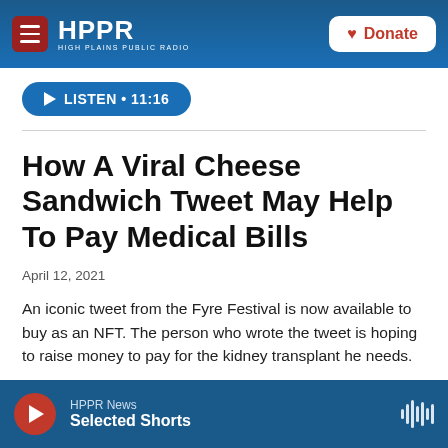HPPR HIGH PLAINS PUBLIC RADIO — Donate
[Figure (screenshot): HPPR website header with navigation menu icon, HPPR logo, and Donate button]
LISTEN • 11:16
How A Viral Cheese Sandwich Tweet May Help To Pay Medical Bills
April 12, 2021
An iconic tweet from the Fyre Festival is now available to buy as an NFT. The person who wrote the tweet is hoping to raise money to pay for the kidney transplant he needs.
LISTEN • 2:16
HPPR News — Selected Shorts